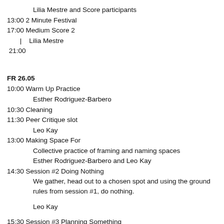Lilia Mestre and Score participants
13:00 2 Minute Festival
17:00 Medium Score 2
| Lilia Mestre
21:00
FR 26.05
10:00 Warm Up Practice
Esther Rodriguez-Barbero
10:30 Cleaning
11:30 Peer Critique slot
Leo Kay
13:00 Making Space For
Collective practice of framing and naming spaces
Esther Rodriguez-Barbero and Leo Kay
14:30 Session #2 Doing Nothing
We gather, head out to a chosen spot and using the ground rules from session #1, do nothing.
Leo Kay
15:30 Session #3 Planning Something